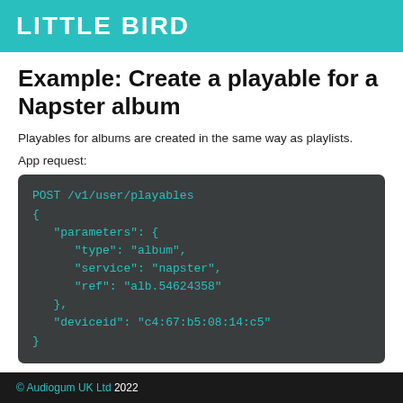LITTLE BIRD
Example: Create a playable for a Napster album
Playables for albums are created in the same way as playlists.
App request:
[Figure (screenshot): Code block showing a POST request to /v1/user/playables with JSON body containing parameters with type 'album', service 'napster', ref 'alb.54624358', and deviceid 'c4:67:b5:08:14:c5']
Response:
© Audiogum UK Ltd 2022